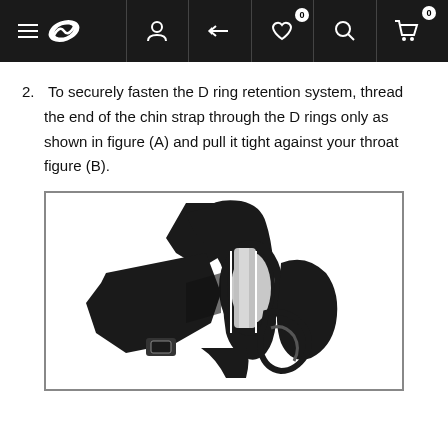Navigation bar with menu, logo, account, compare, wishlist (0), search, cart (0) icons
2. To securely fasten the D ring retention system, thread the end of the chin strap through the D rings only as shown in figure (A) and pull it tight against your throat figure (B).
[Figure (illustration): Close-up illustration showing a D ring retention system with a chin strap threaded through D rings on a helmet, demonstrating correct fastening technique.]